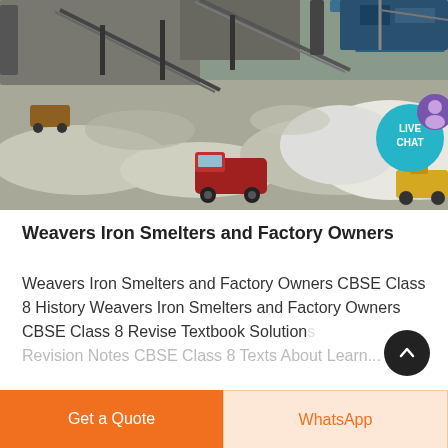[Figure (photo): Aerial view of a large mining/quarrying facility with conveyor belts, machinery, trucks, and piles of crushed stone/gravel. A red dump truck is prominent in the foreground. A 'LIVE CHAT' bubble overlay appears in the upper right.]
Weavers Iron Smelters and Factory Owners
Weavers Iron Smelters and Factory Owners CBSE Class 8 History Weavers Iron Smelters and Factory Owners CBSE Class 8 Revise Textbook Solutions Revision Notes CBSE Class 8 Texts About Learn...